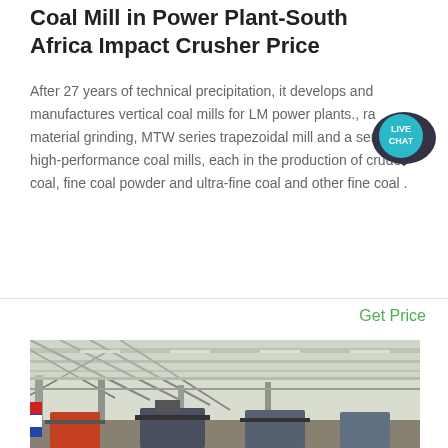Coal Mill in Power Plant-South Africa Impact Crusher Price
After 27 years of technical precipitation, it develops and manufactures vertical coal mills for LM power plants., raw material grinding, MTW series trapezoidal mill and a series of high-performance coal mills, each in the production of crude coal, fine coal powder and ultra-fine coal and other fine coal .
Get Price
[Figure (photo): Interior of a large industrial factory/plant facility with steel roof trusses, columns, and heavy machinery including what appears to be crushers or mills on the factory floor.]